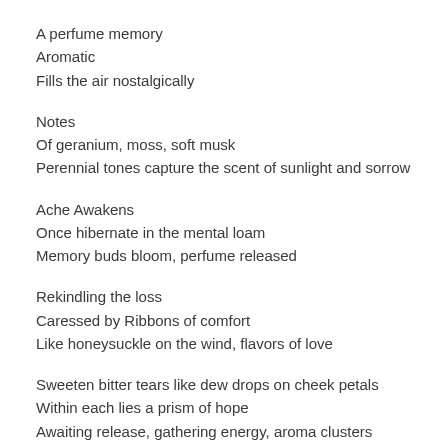A perfume memory
Aromatic
Fills the air nostalgically
Notes
Of geranium, moss, soft musk
Perennial tones capture the scent of sunlight and sorrow
Ache Awakens
Once hibernate in the mental loam
Memory buds bloom, perfume released
Rekindling the loss
Caressed by Ribbons of comfort
Like honeysuckle on the wind, flavors of love
Sweeten bitter tears like dew drops on cheek petals
Within each lies a prism of hope
Awaiting release, gathering energy, aroma clusters coiled in readiness